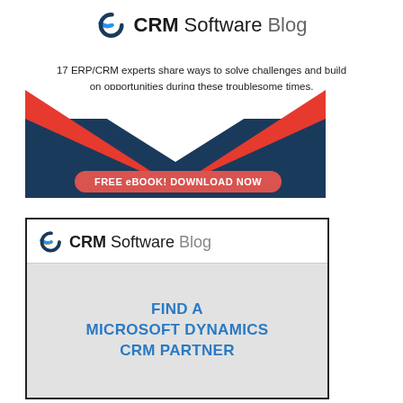[Figure (logo): CRM SoftwareBlog logo with colorful circular icon]
17 ERP/CRM experts share ways to solve challenges and build on opportunities during these troublesome times.
[Figure (illustration): Envelope graphic with red and dark blue chevron shapes and a red button labeled FREE eBOOK! DOWNLOAD NOW]
[Figure (logo): CRM SoftwareBlog logo with colorful circular icon (smaller, inside bottom ad box)]
FIND A MICROSOFT DYNAMICS CRM PARTNER